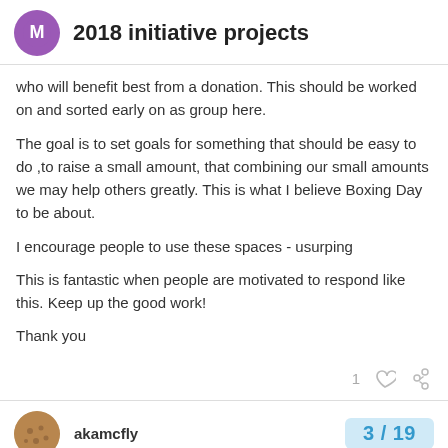2018 initiative projects
who will benefit best from a donation. This should be worked on and sorted early on as group here.
The goal is to set goals for something that should be easy to do ,to raise a small amount, that combining our small amounts we may help others greatly. This is what I believe Boxing Day to be about.
I encourage people to use these spaces - usurping
This is fantastic when people are motivated to respond like this. Keep up the good work!
Thank you
akamcfly
3 / 19